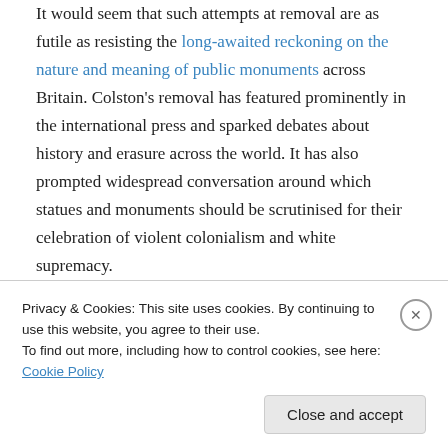It would seem that such attempts at removal are as futile as resisting the long-awaited reckoning on the nature and meaning of public monuments across Britain. Colston's removal has featured prominently in the international press and sparked debates about history and erasure across the world. It has also prompted widespread conversation around which statues and monuments should be scrutinised for their celebration of violent colonialism and white supremacy.

The significance of this moment cannot be overlooked by art historians. Monuments demonstrate how visual and
Privacy & Cookies: This site uses cookies. By continuing to use this website, you agree to their use.
To find out more, including how to control cookies, see here: Cookie Policy